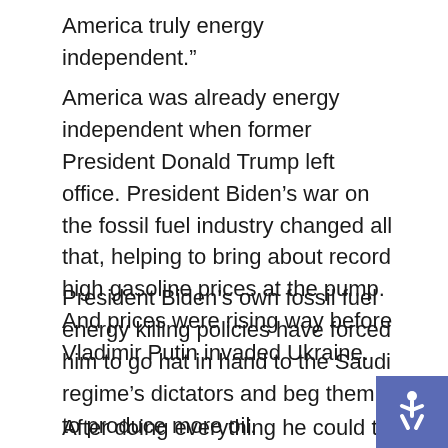America truly energy independent.”
America was already energy independent when former President Donald Trump left office. President Biden’s war on the fossil fuel industry changed all that, helping to bring about record high gasoline prices at the pump. And prices were rising way before Vladimir Putin invaded Ukraine.
President Biden’s own fossil fuel energy killing policies have forced him to go hat in hand to the Saudi regime’s dictators and beg them to produce more oil.
After doing everything he could to follow through